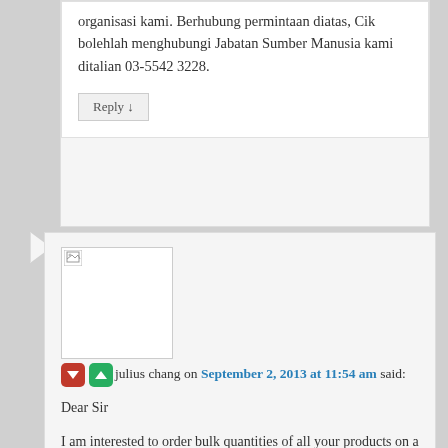organisasi kami. Berhubung permintaan diatas, Cik bolehlah menghubungi Jabatan Sumber Manusia kami ditalian 03-5542 3228.
Reply ↓
[Figure (photo): Broken/unloaded avatar image placeholder]
julius chang on September 2, 2013 at 11:54 am said:
Dear Sir

I am interested to order bulk quantities of all your products on a daily basis to be sold at Kuching, Sarawak.